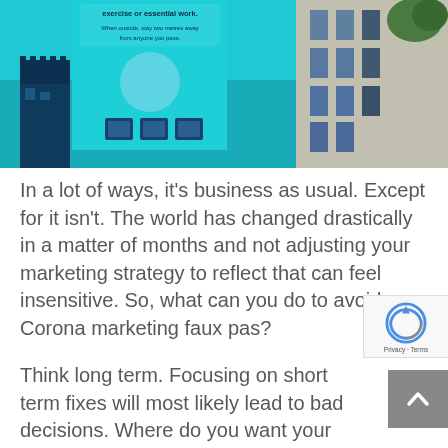[Figure (photo): Street photograph showing a digital advertising billboard/screen displaying a COVID-19 public health message with teal/blue design, with city buildings visible on the right side. The sign shows text about exercise or essential work and staying two metres away from anyone you pass.]
In a lot of ways, it's business as usual. Except for it isn't. The world has changed drastically in a matter of months and not adjusting your marketing strategy to reflect that can feel insensitive. So, what can you do to avoid any Corona marketing faux pas?
Think long term. Focusing on short term fixes will most likely lead to bad decisions. Where do you want your company to be after this? Thinking about that will help you to keep your customer